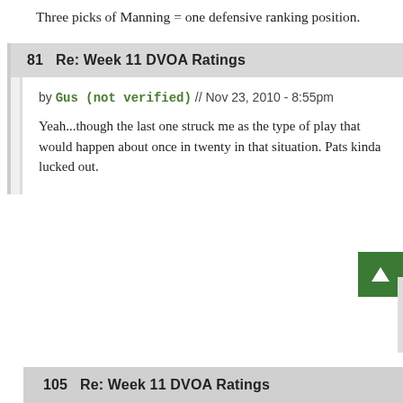Three picks of Manning = one defensive ranking position.
81   Re: Week 11 DVOA Ratings
by Gus (not verified) // Nov 23, 2010 - 8:55pm
Yeah...though the last one struck me as the type of play that would happen about once in twenty in that situation. Pats kinda lucked out.
105   Re: Week 11 DVOA Ratings